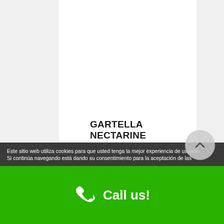GARTELLA NECTARINE
Gartella nectarine has a regular round shape, large size (mostly AA), intensely yellow skin with 90-100% bright red blush; yellow flesh, pleasant sweet aromatic flavour and very juicy
SEASONALITY
10th of May  to 30th of May
Este sitio web utiliza cookies para que usted tenga la mejor experiencia de usuario. Si continúa navegando está dando su consentimiento para la aceptación de las
Call us!